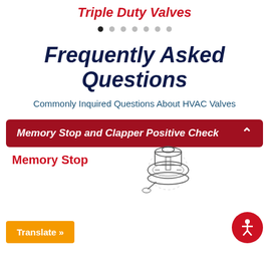Triple Duty Valves
[Figure (other): Carousel navigation dots, 7 dots total with first dot filled/active]
Frequently Asked Questions
Commonly Inquired Questions About HVAC Valves
Memory Stop and Clapper Positive Check
Memory Stop
[Figure (engineering-diagram): Technical diagram of a valve component (memory stop) showing a circular mechanical assembly with flow labels]
Translate »